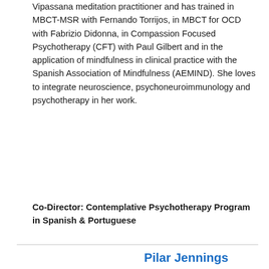Vipassana meditation practitioner and has trained in MBCT-MSR with Fernando Torrijos, in MBCT for OCD with Fabrizio Didonna, in Compassion Focused Psychotherapy (CFT) with Paul Gilbert and in the application of mindfulness in clinical practice with the Spanish Association of Mindfulness (AEMIND). She loves to integrate neuroscience, psychoneuroimmunology and psychotherapy in her work.
Co-Director: Contemplative Psychotherapy Program in Spanish & Portuguese
Pilar Jennings
[Figure (photo): Headshot photo of Pilar Jennings, a woman with brown hair, smiling, wearing a teal/blue top]
Pilar Jennings, PhD, is a psychoanalyst focused on the clinical applications of Buddhist meditation who has been working with patients and their families...